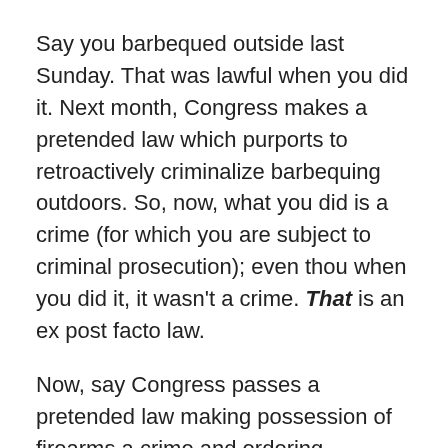Say you barbequed outside last Sunday. That was lawful when you did it. Next month, Congress makes a pretended law which purports to retroactively criminalize barbequing outdoors. So, now, what you did is a crime (for which you are subject to criminal prosecution); even thou when you did it, it wasn't a crime. That is an ex post facto law.
Now, say Congress passes a pretended law making possession of firearms a crime and ordering everyone to turn in their guns. Only if you do not turn in your guns will you have committed a “crime”.  That is not an ex post facto law because if you turn in your guns, you won't be criminally prosecuted. The “crime” is the failure to turn in your guns – not the prior possession of guns.
Such a law would be totally UNCONSTITUTIONAL.